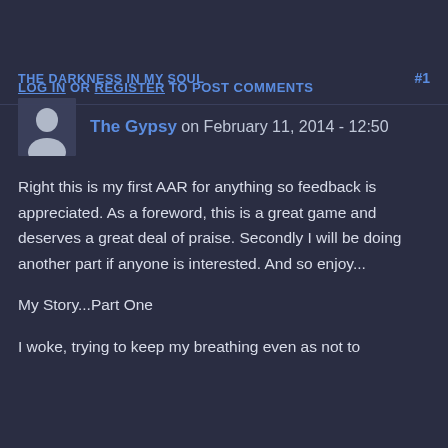LOG IN OR REGISTER TO POST COMMENTS
THE DARKNESS IN MY SOUL  #1
The Gypsy on February 11, 2014 - 12:50
Right this is my first AAR for anything so feedback is appreciated. As a foreword, this is a great game and deserves a great deal of praise. Secondly I will be doing another part if anyone is interested. And so enjoy...
My Story...Part One
I woke, trying to keep my breathing even as not to